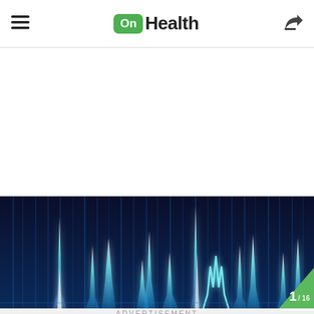OnHealth
[Figure (illustration): EKG / cardiac waveform visualization on dark blue background with bright cyan/white glowing spikes representing heartbeat signals, blue vertical light rays creating a dramatic waveform pattern]
1 / 16
ADVERTISEMENT